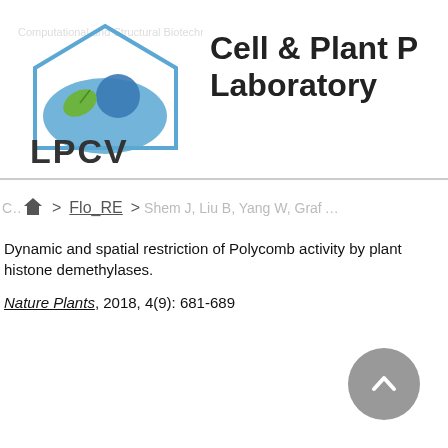[Figure (logo): LPCV laboratory logo with leaf and blue shapes, letters LPCV below]
Cell & Plant P Laboratory
Computational and Structural Biotechnology
Home > Flo_RE > Shem J, Liu B, Yang W, Graf A, Carles CC...
Dynamic and spatial restriction of Polycomb activity by plant histone demethylases.
Nature Plants, 2018, 4(9): 681-689